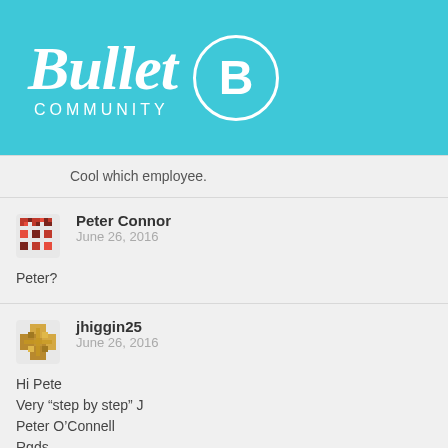[Figure (logo): Bullet Community logo on teal/cyan background with cursive 'Bullet' text, 'COMMUNITY' below, and a circled B icon]
Cool which employee.
Peter Connor
June 26, 2016

Peter?
jhiggin25
June 26, 2016

Hi Pete
Very "step by step" J
Peter O'Connell
Rgds
J
jhiggin25